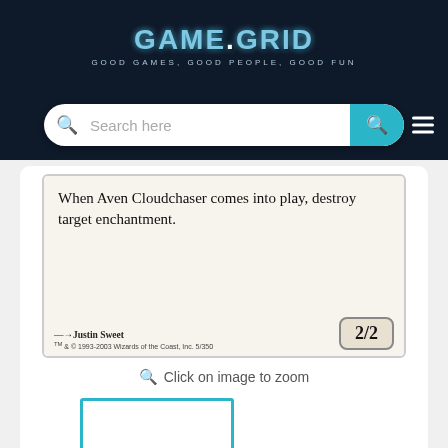[Figure (logo): Game Grid logo with text 'GAME GRID' and tagline 'GOOD GAMES, GOOD PEOPLE, GOOD FUN' on dark navy background]
[Figure (screenshot): Search bar with 'Search here' placeholder text, teal search button, and hamburger menu on dark navy background]
[Figure (photo): Magic: The Gathering card partial view showing text 'When Aven Cloudchaser comes into play, destroy target enchantment.' with artist credit 'Justin Sweet', copyright 'TM & © 1993-2003 Wizards of the Coast, Inc. 5/350', and power/toughness '2/2']
Click on image to zoom
[Figure (other): Small white thumbnail placeholder box with teal/cyan border]